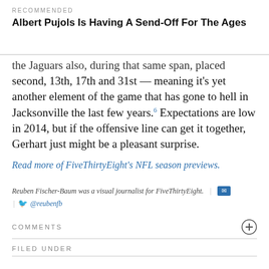RECOMMENDED
Albert Pujols Is Having A Send-Off For The Ages
the Jaguars also, during that same span, placed second, 13th, 17th and 31st — meaning it's yet another element of the game that has gone to hell in Jacksonville the last few years.6 Expectations are low in 2014, but if the offensive line can get it together, Gerhart just might be a pleasant surprise.
Read more of FiveThirtyEight's NFL season previews.
Reuben Fischer-Baum was a visual journalist for FiveThirtyEight. | @reubenfb
COMMENTS
FILED UNDER